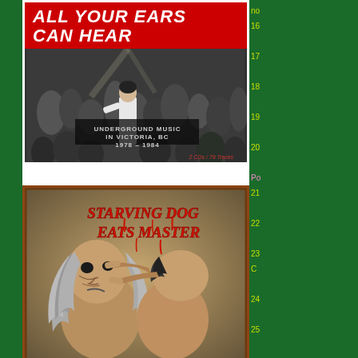[Figure (photo): Album cover: 'All Your Ears Can Hear - Underground Music in Victoria, BC 1978-1984'. Red background with white bold italic title text at top, black and white concert crowd photo below, subtitle text and '2 CDs / 79 Tracks' at bottom.]
[Figure (illustration): Album cover: 'Starving Dog Eats Master'. Horror-style painted illustration showing two figures in a violent confrontation, with gothic red dripping font title at top right.]
no 16 17 18 19 20 Po 21 22 23 C 24 25